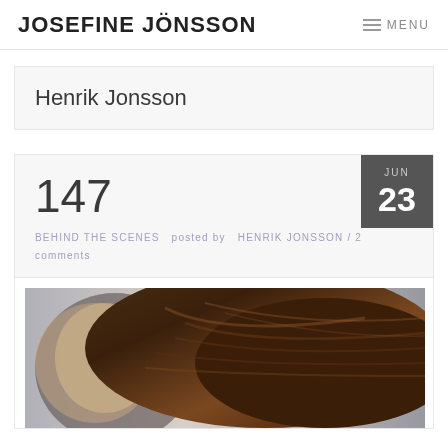JOSEFINE JÖNSSON    MENU
Henrik Jonsson
147
BEHIND THE SCENES  posted by  HENRIK JONSSON / 2 comments
[Figure (photo): Close-up photograph of a person's dark brown hair with a blurred background, partially cropped]